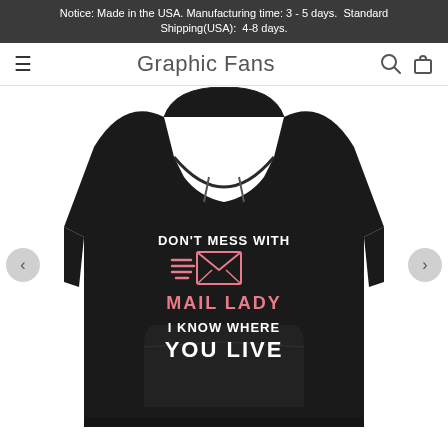Notice: Made in the USA. Manufacturing time: 3 - 5 days.  Standard Shipping(USA):  4-8 days.
Graphic Fans
[Figure (photo): Black hoodie sweatshirt with graphic text reading: DON'T MESS WITH MAIL LADY I KNOW WHERE YOU LIVE, with an envelope icon with motion lines in pink and white. Navigation arrows on left and right sides of product image.]